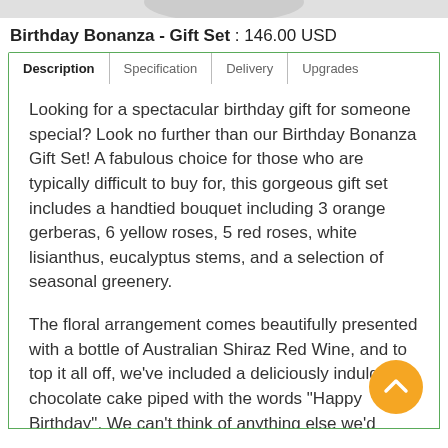Birthday Bonanza - Gift Set : 146.00 USD
Description | Specification | Delivery | Upgrades
Looking for a spectacular birthday gift for someone special? Look no further than our Birthday Bonanza Gift Set! A fabulous choice for those who are typically difficult to buy for, this gorgeous gift set includes a handtied bouquet including 3 orange gerberas, 6 yellow roses, 5 red roses, white lisianthus, eucalyptus stems, and a selection of seasonal greenery.
The floral arrangement comes beautifully presented with a bottle of Australian Shiraz Red Wine, and to top it all off, we've included a deliciously indulgent chocolate cake piped with the words "Happy Birthday". We can't think of anything else we'd rather receive on our birthday - can you?